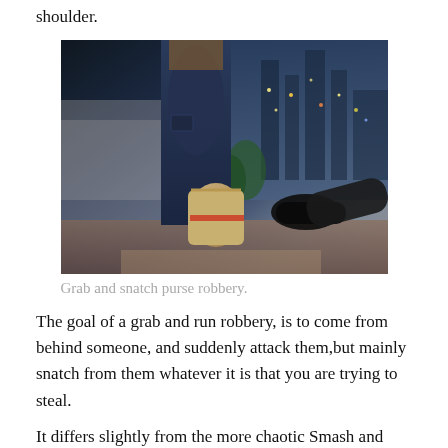shoulder.
[Figure (photo): A person being robbed from behind — a gloved hand snatching a purse/handbag from a woman in jeans on a city street at dusk.]
Grab and snatch purse robbery.
The goal of a grab and run robbery, is to come from behind someone, and suddenly attack them,but mainly snatch from them whatever it is that you are trying to steal.
It differs slightly from the more chaotic Smash and Grab style of thievery, where there is usually a car or vehicle involved with crashing through a door, window, or glass